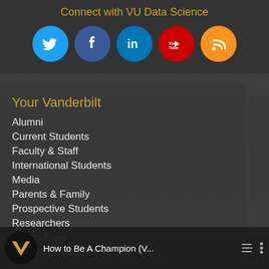Connect with VU Data Science
[Figure (infographic): Row of social media icons: Twitter (blue bird), Facebook (blue f), LinkedIn (blue in), YouTube (red), RSS (orange)]
Your Vanderbilt
Alumni
Current Students
Faculty & Staff
International Students
Media
Parents & Family
Prospective Students
Researchers
Sports Fans
Visitors & Neighbors
How to Be A Champion (V...